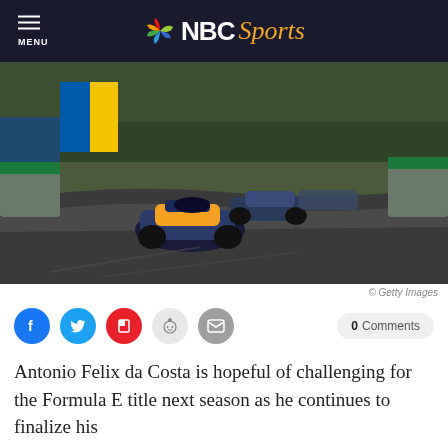NBC Sports
[Figure (photo): Formula E electric racing cars on a street circuit, lead car in foreground with McLaren orange livery, other cars behind on a twisting urban track with barriers and trees]
© Getty Images
Antonio Felix da Costa is hopeful of challenging for the Formula E title next season as he continues to finalize his
0 Comments